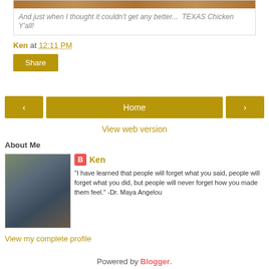[Figure (photo): Partial image of food (Texas Chicken) at the top of the page, partially cropped]
And just when I thought it couldn't get any better...  TEXAS Chicken Y'all!
Ken at 12:11 PM
Share
< Home >
View web version
About Me
[Figure (photo): Profile photo of Ken, a man with short hair, smiling]
Ken
"I have learned that people will forget what you said, people will forget what you did, but people will never forget how you made them feel." -Dr. Maya Angelou
View my complete profile
Powered by Blogger.